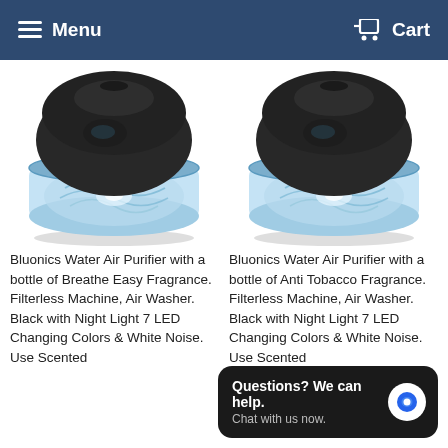Menu   Cart
[Figure (photo): Bluonics Water Air Purifier device — a rounded dark gray/black top with a transparent blue water basin bottom, showing swirling water pattern with blue LED lighting inside. Left product image.]
[Figure (photo): Bluonics Water Air Purifier device — a rounded dark gray/black top with a transparent blue water basin bottom, showing swirling water pattern with blue LED lighting inside. Right product image.]
Bluonics Water Air Purifier with a bottle of Breathe Easy Fragrance. Filterless Machine, Air Washer. Black with Night Light 7 LED Changing Colors & White Noise. Use Scented
Bluonics Water Air Purifier with a bottle of Anti Tobacco Fragrance. Filterless Machine, Air Washer. Black with Night Light 7 LED Changing Colors & White Noise. Use Scented